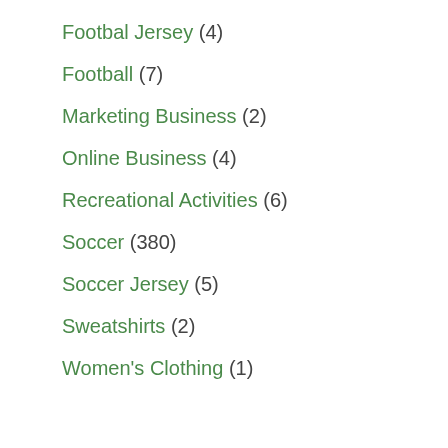Footbal Jersey (4)
Football (7)
Marketing Business (2)
Online Business (4)
Recreational Activities (6)
Soccer (380)
Soccer Jersey (5)
Sweatshirts (2)
Women's Clothing (1)